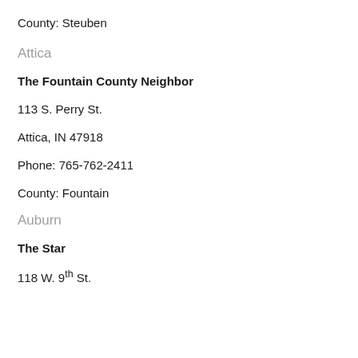County: Steuben
Attica
The Fountain County Neighbor
113 S. Perry St.
Attica, IN 47918
Phone: 765-762-2411
County: Fountain
Auburn
The Star
118 W. 9th St.